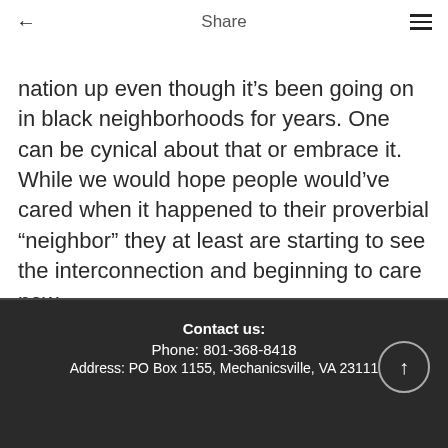Share
nation up even though it’s been going on in black neighborhoods for years. One can be cynical about that or embrace it. While we would hope people would’ve cared when it happened to their proverbial “neighbor” they at least are starting to see the interconnection and beginning to care now.
Contact us:
Phone: 801-368-8418
Address: PO Box 1155, Mechanicsville, VA 23111